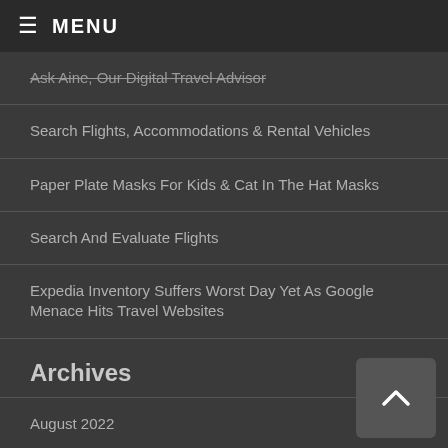MENU
Ask Aine, Our Digital Travel Advisor
Search Flights, Accommodations & Rental Vehicles
Paper Plate Masks For Kids & Cat In The Hat Masks
Search And Evaluate Flights
Expedia Inventory Suffers Worst Day Yet As Google Menace Hits Travel Websites
Archives
August 2022
July 2022
June 2022